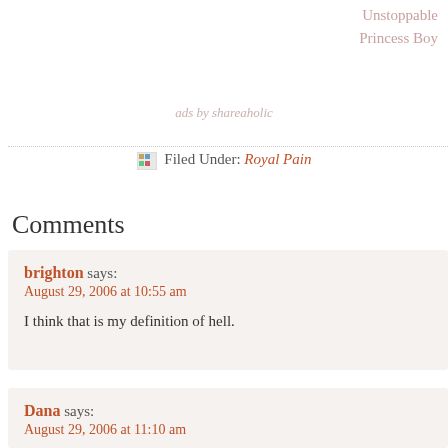Unstoppable
Princess Boy
ads by shareaholic
Filed Under: Royal Pain
Comments
brighton says:
August 29, 2006 at 10:55 am
I think that is my definition of hell.
Dana says:
August 29, 2006 at 11:10 am
Sorry to hear about the power outage. I wouldn't have survived.
I'm glad things are working now!!!